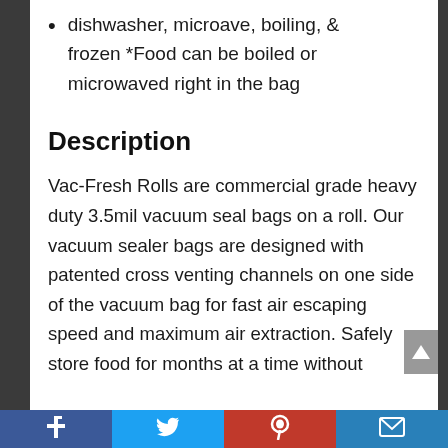dishwasher, microave, boiling, & frozen *Food can be boiled or microwaved right in the bag
Description
Vac-Fresh Rolls are commercial grade heavy duty 3.5mil vacuum seal bags on a roll. Our vacuum sealer bags are designed with patented cross venting channels on one side of the vacuum bag for fast air escaping speed and maximum air extraction. Safely store food for months at a time without